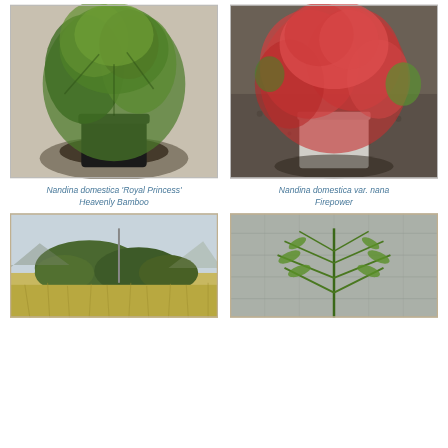[Figure (photo): Potted plant with green feathery foliage in a black pot on a concrete surface with shadow]
[Figure (photo): Potted plant with bright red/pink leaves in a light-colored pot on gravel ground]
Nandina domestica 'Royal Princess'
Heavenly Bamboo
Nandina domestica var. nana
Firepower
[Figure (photo): Wide landscape shot of trees and grass field with pole]
[Figure (photo): Close-up of green fern-like plant foliage against gray wall]